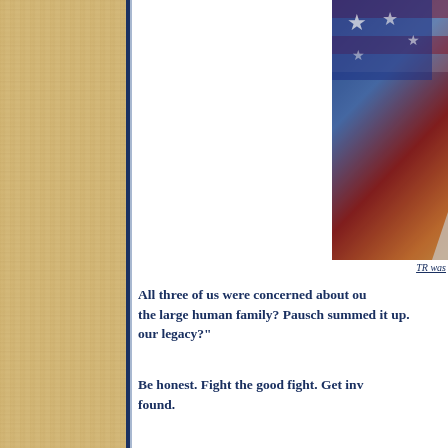[Figure (photo): Portrait of a man with glasses and grey hair/beard, overlaid with an American flag background (stars and red/white/blue stripes visible). The man appears thoughtful, with his hand near his face.]
TR was
All three of us were concerned about our place in the large human family? Pausch summed it up. "our legacy?"
Be honest. Fight the good fight. Get inv found.